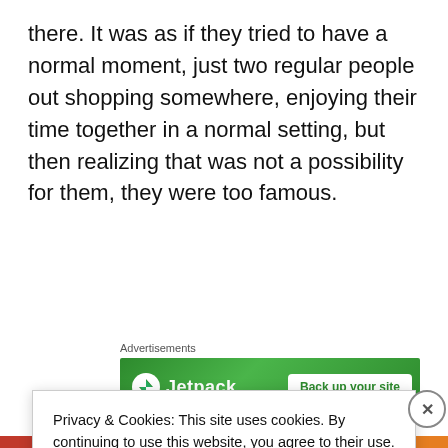there. It was as if they tried to have a normal moment, just two regular people out shopping somewhere, enjoying their time together in a normal setting, but then realizing that was not a possibility for them, they were too famous.
Advertisements
[Figure (other): Jetpack advertisement banner with green gradient background showing Jetpack logo and 'Back up your site' call to action]
Privacy & Cookies: This site uses cookies. By continuing to use this website, you agree to their use.
To find out more, including how to control cookies, see here: Cookie Policy.
Close and accept